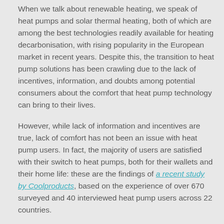When we talk about renewable heating, we speak of heat pumps and solar thermal heating, both of which are among the best technologies readily available for heating decarbonisation, with rising popularity in the European market in recent years. Despite this, the transition to heat pump solutions has been crawling due to the lack of incentives, information, and doubts among potential consumers about the comfort that heat pump technology can bring to their lives.
However, while lack of information and incentives are true, lack of comfort has not been an issue with heat pump users. In fact, the majority of users are satisfied with their switch to heat pumps, both for their wallets and their home life: these are the findings of a recent study by Coolproducts, based on the experience of over 670 surveyed and 40 interviewed heat pump users across 22 countries.